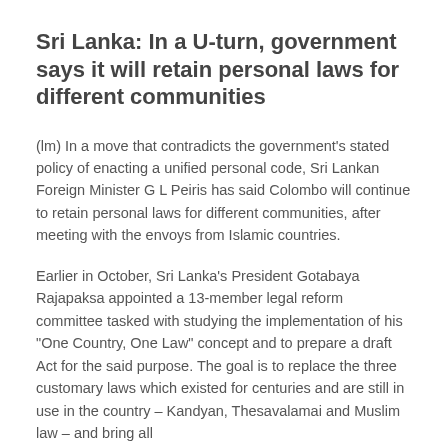Sri Lanka: In a U-turn, government says it will retain personal laws for different communities
(lm) In a move that contradicts the government's stated policy of enacting a unified personal code, Sri Lankan Foreign Minister G L Peiris has said Colombo will continue to retain personal laws for different communities, after meeting with the envoys from Islamic countries.
Earlier in October, Sri Lanka's President Gotabaya Rajapaksa appointed a 13-member legal reform committee tasked with studying the implementation of his "One Country, One Law" concept and to prepare a draft Act for the said purpose. The goal is to replace the three customary laws which existed for centuries and are still in use in the country – Kandyan, Thesavalamai and Muslim law – and bring all